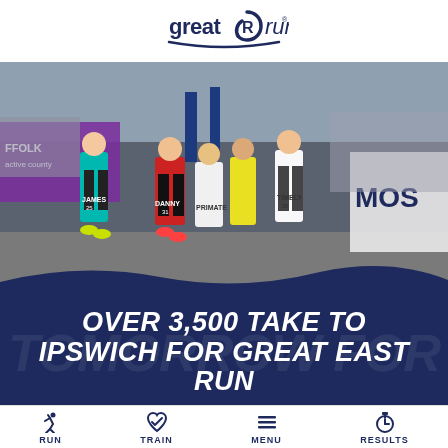[Figure (logo): Great Run logo — stylized 'great run' wordmark in navy blue with a swoosh]
[Figure (photo): A group of runners at the start of a road race, wearing numbered bibs, with spectators and Suffolk Active County banners visible in the background]
OVER 3,500 TAKE TO IPSWICH FOR GREAT EAST RUN
RUN  TRAIN  MENU  RESULTS